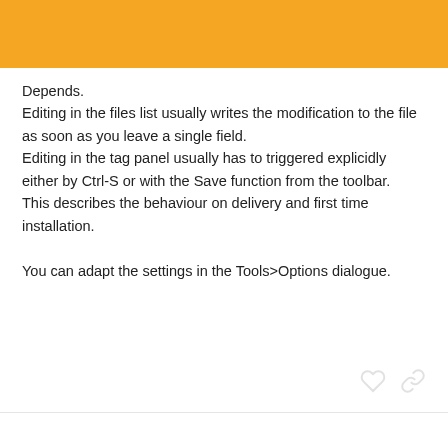Depends.
Editing in the files list usually writes the modification to the file as soon as you leave a single field.
Editing in the tag panel usually has to triggered explicidly either by Ctrl-S or with the Save function from the toolbar.
This describes the behaviour on delivery and first time installation.

You can adapt the settings in the Tools>Options dialogue.
DCZ  Oct '16
ohrenkino:
Depends.